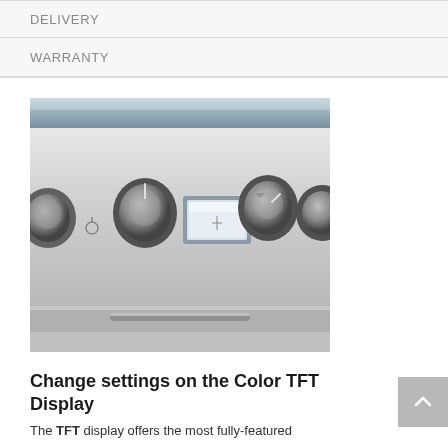DELIVERY
WARRANTY
[Figure (photo): Close-up photo of a stainless steel range/oven front panel showing control knobs and a small TFT display screen in the center]
Change settings on the Color TFT Display
The TFT display offers the most fully-featured...